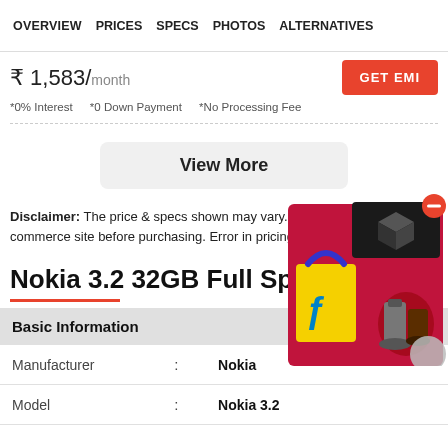OVERVIEW   PRICES   SPECS   PHOTOS   ALTERNATIVES
₹ 1,583/month
GET EMI
*0% Interest   *0 Down Payment   *No Processing Fee
View More
Disclaimer: The price & specs shown may vary. Please confirm on the e-commerce site before purchasing. Error in pricing: Please let us know.
Nokia 3.2 32GB Full Specifications
|  | : |  |
| --- | --- | --- |
| Basic Information |  |  |
| Manufacturer | : | Nokia |
| Model | : | Nokia 3.2 |
[Figure (illustration): Flipkart advertisement showing a red shopping bag with Flipkart logo and kitchen appliances, with a black box and red minus button overlay]